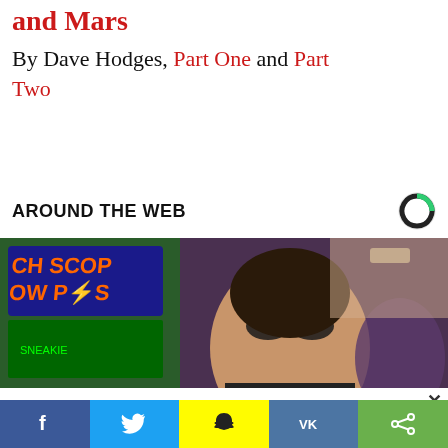and Mars
By Dave Hodges, Part One and Part Two
AROUND THE WEB
[Figure (photo): Thumbnail carousel photo showing a man with sunglasses near a slot machine screen]
[Figure (photo): Carousel row: left item shows an older man near slot machines with text '3 Step'; right item shows a person smiling making a heart gesture with text 'Here']
f  (Twitter bird)  (Snapchat ghost)  VK  (share icon) — social share bar